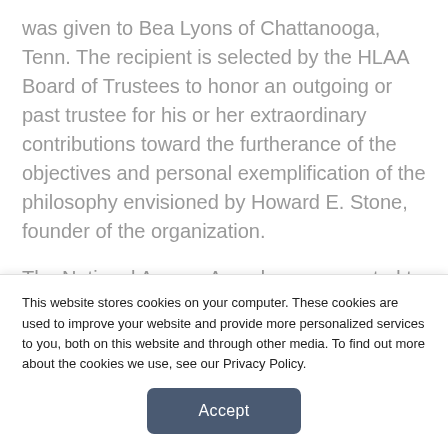was given to Bea Lyons of Chattanooga, Tenn. The recipient is selected by the HLAA Board of Trustees to honor an outgoing or past trustee for his or her extraordinary contributions toward the furtherance of the objectives and personal exemplification of the philosophy envisioned by Howard E. Stone, founder of the organization.
The National Access Award was presented to Brown University, which was recognized for its disability access services. The services enable students, staff, faculty, and visitors, especially those with hearing
This website stores cookies on your computer. These cookies are used to improve your website and provide more personalized services to you, both on this website and through other media. To find out more about the cookies we use, see our Privacy Policy.